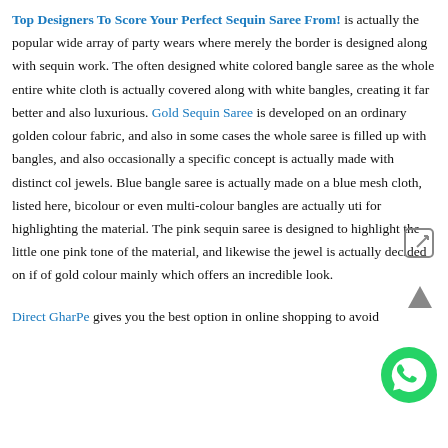Top Designers To Score Your Perfect Sequin Saree From! is actually the popular wide array of party wears where merely the border is designed along with sequin work. The often designed white colored bangle saree as the whole entire white cloth is actually covered along with white bangles, creating it far better and also luxurious. Gold Sequin Saree is developed on an ordinary golden colour fabric, and also in some cases the whole saree is filled up with bangles, and also occasionally a specific concept is actually made with distinct col jewels. Blue bangle saree is actually made on a blue mesh cloth, listed here, bicolour or even multi-colour bangles are actually uti for highlighting the material. The pink sequin saree is designed to highlight the little one pink tone of the material, and likewise the jewel is actually decided on if of gold colour mainly which offers an incredible look.
Direct GharPe gives you the best option in online shopping to avoid